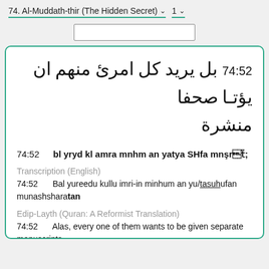74. Al-Muddath-thir (The Hidden Secret)   1
[Figure (screenshot): Search input box]
74:52 بل يريد كل امرئ منهم ان يؤتـا صحفا منشرة
74:52   bl yryd kl amra mnhm an yatya SHfa mnşrẗ
Transcription (English)
74:52   Bal yureedu kullu imri-in minhum an yu/tasuhufan munashsharatan
Edip-Layth (Quran: A Reformist Translation)
74:52   Alas, every one of them wants to be given separate manuscripts.